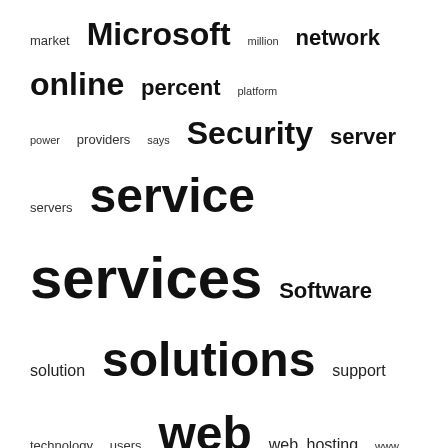[Figure (other): Tag cloud with words of varying sizes: market, Microsoft, million, network, online, percent, platform, power, providers, says, Security, server, servers, service, services, Software, solution, solutions, support, technology, users, web, web hosting, www, year]
random posts
(refresh random posts)
latest video post
First underwater observatory live online
recent posts
arsys.es Offers Hybrid Exchange Email Platform
VMware Expands Enterprise Class Automated Disaster Recovery without Cost and Complexity
Hosting.com Offers ColdFusion 9 Hosting Trial
Intel, Univa, Diamond Define Cloud Computing Best Practices